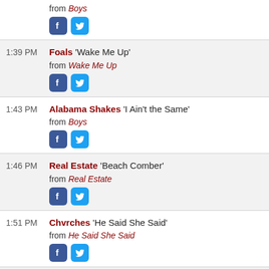from Boys [partial, top of page]
1:39 PM — Foals 'Wake Me Up' from Wake Me Up
1:43 PM — Alabama Shakes 'I Ain't the Same' from Boys
1:46 PM — Real Estate 'Beach Comber' from Real Estate
1:51 PM — Chvrches 'He Said She Said' from He Said She Said
1:54 PM — Trace Mountains 'If You Do' from House of Confusion